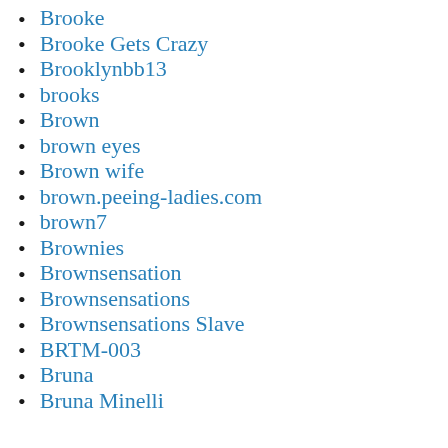Brooke
Brooke Gets Crazy
Brooklynbb13
brooks
Brown
brown eyes
Brown wife
brown.peeing-ladies.com
brown7
Brownies
Brownsensation
Brownsensations
Brownsensations Slave
BRTM-003
Bruna
Bruna Minelli